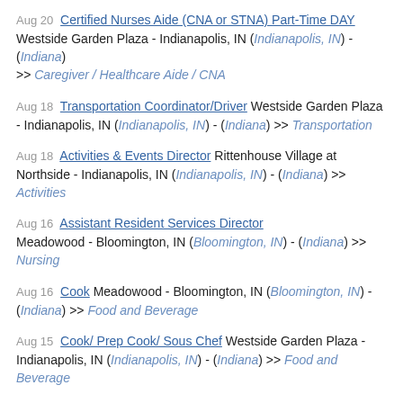Aug 20  Certified Nurses Aide (CNA or STNA) Part-Time DAY  Westside Garden Plaza - Indianapolis, IN (Indianapolis, IN) - (Indiana) >> Caregiver / Healthcare Aide / CNA
Aug 18  Transportation Coordinator/Driver  Westside Garden Plaza - Indianapolis, IN (Indianapolis, IN) - (Indiana) >> Transportation
Aug 18  Activities & Events Director  Rittenhouse Village at Northside - Indianapolis, IN (Indianapolis, IN) - (Indiana) >> Activities
Aug 16  Assistant Resident Services Director  Meadowood - Bloomington, IN (Bloomington, IN) - (Indiana) >> Nursing
Aug 16  Cook  Meadowood - Bloomington, IN (Bloomington, IN) - (Indiana) >> Food and Beverage
Aug 15  Cook/ Prep Cook/ Sous Chef  Westside Garden Plaza - Indianapolis, IN (Indianapolis, IN) - (Indiana) >> Food and Beverage
Aug 15  Certified Nurses Aide (CNA or STNA) Part-Time DAY  Westside Garden Plaza - Indianapolis, IN (Indianapolis, IN) - (Indiana) >> Caregiver / Healthcare Aide / CNA